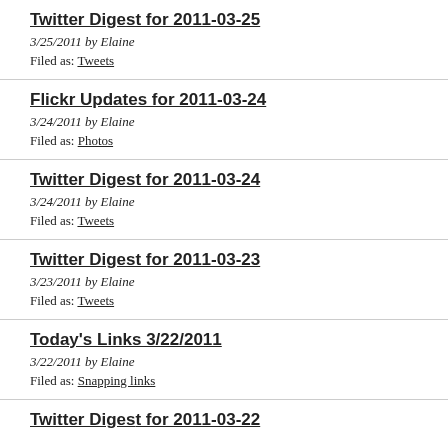Twitter Digest for 2011-03-25
3/25/2011 by Elaine
Filed as: Tweets
Flickr Updates for 2011-03-24
3/24/2011 by Elaine
Filed as: Photos
Twitter Digest for 2011-03-24
3/24/2011 by Elaine
Filed as: Tweets
Twitter Digest for 2011-03-23
3/23/2011 by Elaine
Filed as: Tweets
Today's Links 3/22/2011
3/22/2011 by Elaine
Filed as: Snapping links
Twitter Digest for 2011-03-22